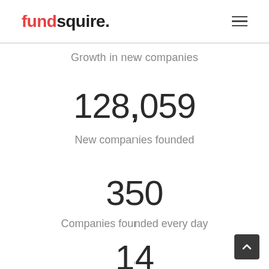fundsquire.
Growth in new companies
128,059
New companies founded
350
Companies founded every day
14